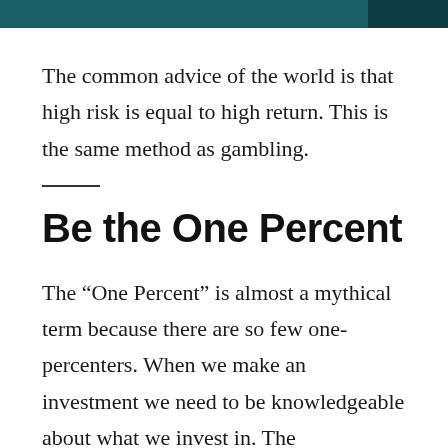The common advice of the world is that high risk is equal to high return. This is the same method as gambling.
Be the One Percent
The “One Percent” is almost a mythical term because there are so few one-percenters. When we make an investment we need to be knowledgeable about what we invest in. The